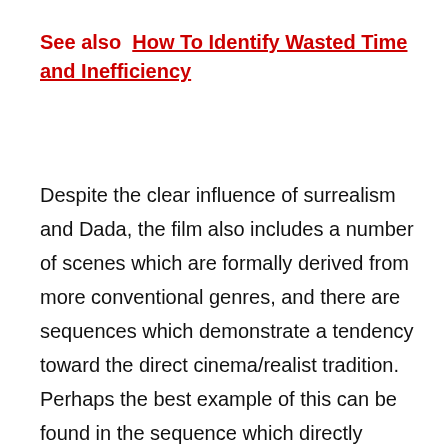See also  How To Identify Wasted Time and Inefficiency
Despite the clear influence of surrealism and Dada, the film also includes a number of scenes which are formally derived from more conventional genres, and there are sequences which demonstrate a tendency toward the direct cinema/realist tradition. Perhaps the best example of this can be found in the sequence which directly follows the 'I Am the Walrus' number, in which Lennon and Harrison, shot by hand-held camera, are seen blowing up a balloon for a little girl to play